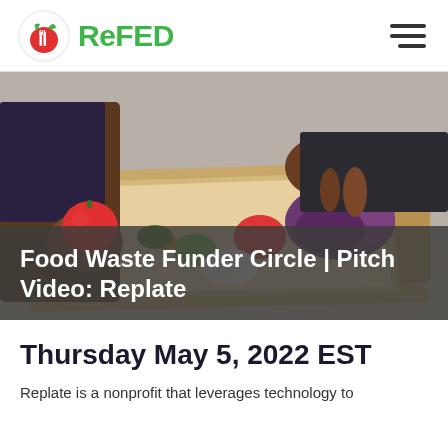ReFED
[Figure (photo): Person holding a red tomato above an open cardboard box filled with fresh vegetables including peppers, cauliflower, and purple cabbage.]
Food Waste Funder Circle | Pitch Video: Replate
Thursday May 5, 2022 EST
Replate is a nonprofit that leverages technology to